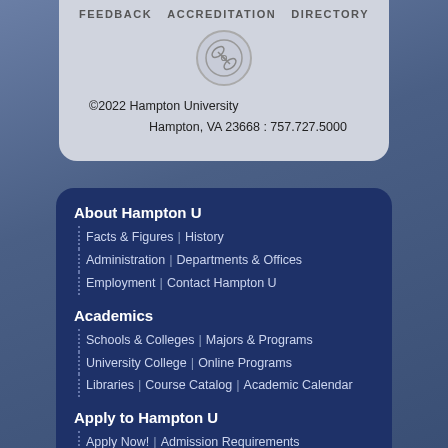FEEDBACK   ACCREDITATION   DIRECTORY
[Figure (logo): Hampton University circular logo/seal with crossed rackets icon]
©2022 Hampton University
Hampton, VA 23668 : 757.727.5000
About Hampton U
Facts & Figures  |  History
Administration  |  Departments & Offices
Employment  |  Contact Hampton U
Academics
Schools & Colleges  |  Majors & Programs
University College  |  Online Programs
Libraries  |  Course Catalog  |  Academic Calendar
Apply to Hampton U
Apply Now!  |  Admission Requirements
Financial Aid & Scholarships
Undergraduate Admission  |  Graduate Admission  |  Transfer Admission
Athletics
Intramurals & Recreation  |  Intercollegiate Athletics  |  HamptonPirates.com